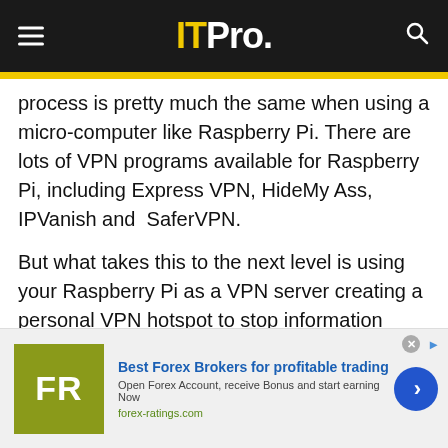ITPro.
process is pretty much the same when using a micro-computer like Raspberry Pi. There are lots of VPN programs available for Raspberry Pi, including Express VPN, HideMy Ass, IPVanish and  SaferVPN.
But what takes this to the next level is using your Raspberry Pi as a VPN server creating a personal VPN hotspot to stop information about your identity being passed on to any website used on your network. By installing a client on the Raspberry Pi, connect it to your router and it'll scramble your identity before it
[Figure (infographic): Advertisement banner for forex-ratings.com: Best Forex Brokers for profitable trading. Open Forex Account, receive Bonus and start earning Now. forex-ratings.com]